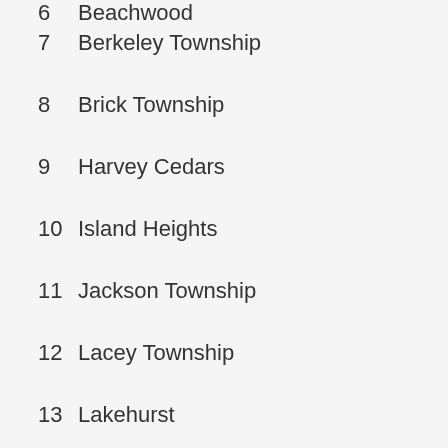6  Beachwood
7  Berkeley Township
8  Brick Township
9  Harvey Cedars
10  Island Heights
11  Jackson Township
12  Lacey Township
13  Lakehurst
14  Little Egg Harbor Township
15  Long Beach Township
16  Mantoloking
17  Ocean Township
18  Ocean Gate
19  Pine Beach
20  Plumsted Township
21  Point Pleasant
22  Point Pleasant Beach
23  South Toms River